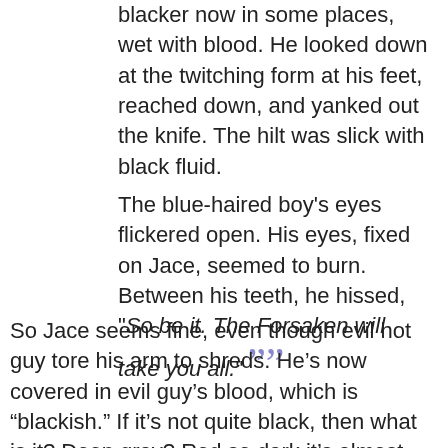blacker now in some places, wet with blood. He looked down at the twitching form at his feet, reached down, and yanked out the knife. The hilt was slick with black fluid.
The blue-haired boy's eyes flickered open. His eyes, fixed on Jace, seemed to burn. Between his teeth, he hissed, “So be it. The Forsaken will take you all.”
So Jace seems fine, even though evil hot guy tore his arm to shreds. He’s now covered in evil guy’s blood, which is “blackish.” If it’s not quite black, then what is it? Deep gray? Red so dark it’s almost black? But the more they deal with not quite black, it’s almost